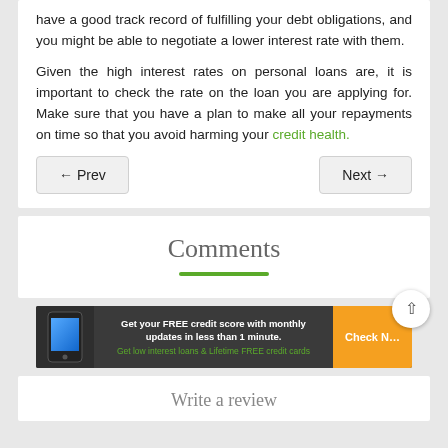have a good track record of fulfilling your debt obligations, and you might be able to negotiate a lower interest rate with them.
Given the high interest rates on personal loans are, it is important to check the rate on the loan you are applying for. Make sure that you have a plan to make all your repayments on time so that you avoid harming your credit health.
Comments
[Figure (infographic): Advertisement banner: Get your FREE credit score with monthly updates in less than 1 minute. Get low interest loans & Lifetime FREE credit cards. Check Now button.]
Write a review